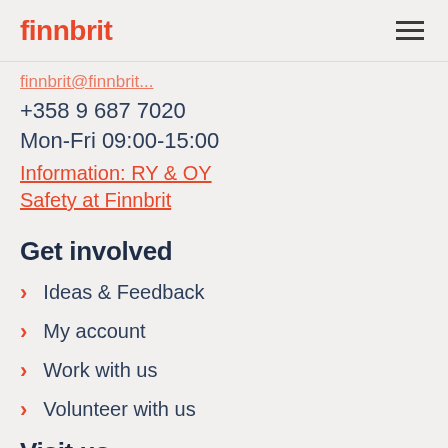finnbrit
finnbrit@finnbrit...
+358 9 687 7020
Mon-Fri 09:00-15:00
Information: RY & OY
Safety at Finnbrit
Get involved
Ideas & Feedback
My account
Work with us
Volunteer with us
Visit us